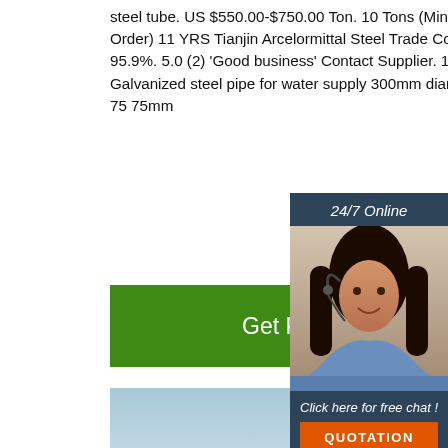steel tube. US $550.00-$750.00 Ton. 10 Tons (Min. Order) 11 YRS Tianjin Arcelormittal Steel Trade Co., Ltd. 95.9%. 5.0 (2) 'Good business' Contact Supplier. 1/6. Galvanized steel pipe for water supply 300mm diameter 75 75mm
[Figure (screenshot): Green 'Get Price' button]
[Figure (screenshot): Sidebar with '24/7 Online' banner, customer service agent photo, 'Click here for free chat!' text, and orange 'QUOTATION' button]
[Figure (photo): Photo of steel wire rod coils stacked in an industrial setting with cranes in the background]